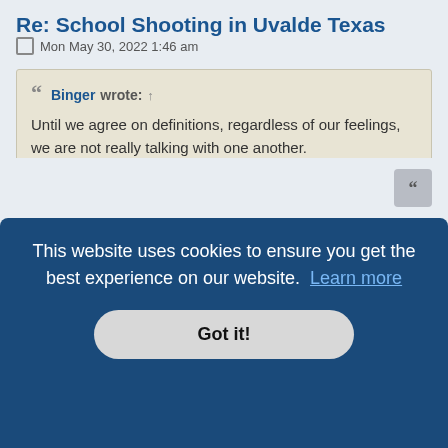Re: School Shooting in Uvalde Texas
Mon May 30, 2022 1:46 am
Binger wrote: ↑
Until we agree on definitions, regardless of our feelings, we are not really talking with one another.
Or people like you complicate things too much. Prostitution and drug advocates use the same argument.
Until we agree on definitions to what paid sex is, regardless of our feelings, we are not really talking with one another.
This website uses cookies to ensure you get the best experience on our website. Learn more
Got it!